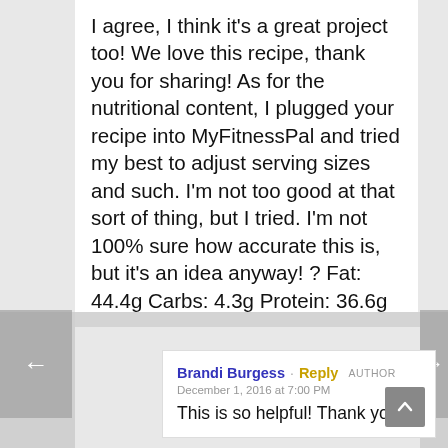I agree, I think it's a great project too! We love this recipe, thank you for sharing! As for the nutritional content, I plugged your recipe into MyFitnessPal and tried my best to adjust serving sizes and such. I'm not too good at that sort of thing, but I tried. I'm not 100% sure how accurate this is, but it's an idea anyway! ? Fat: 44.4g Carbs: 4.3g Protein: 36.6g Calories: 566
Brandi Burgess · Reply  AUTHOR
December 1, 2016 at 7:00 PM
This is so helpful! Thank you!!